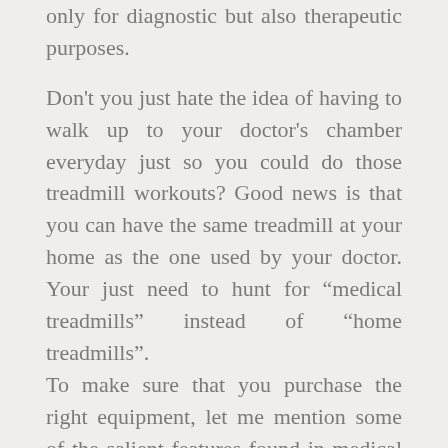only for diagnostic but also therapeutic purposes.
Don't you just hate the idea of having to walk up to your doctor's chamber everyday just so you could do those treadmill workouts? Good news is that you can have the same treadmill at your home as the one used by your doctor. Your just need to hunt for “medical treadmills” instead of “home treadmills”.
To make sure that you purchase the right equipment, let me mention some of the salient features found in medical treadmills:
a)  A walking base with an incline simulates walking up to a hill. In other words, with the help of such a treadmill, you can get